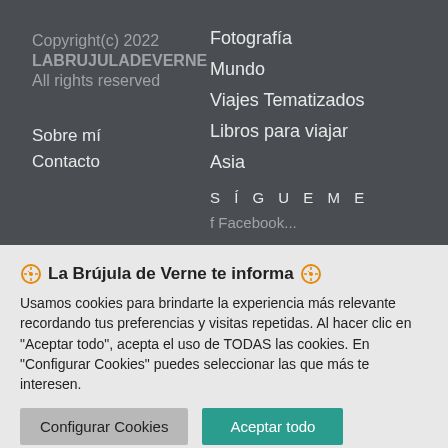Copyright(c) 2022
LABRUJULADEVERNE
All rights reserved
Fotografía
Mundo
Viajes Tematizados
Libros para viajar
Asia
Sobre mí
Contacto
SÍGUEME
f Facebook...
La Brújula de Verne te informa
Usamos cookies para brindarte la experiencia más relevante recordando tus preferencias y visitas repetidas. Al hacer clic en "Aceptar todo", acepta el uso de TODAS las cookies. En "Configurar Cookies" puedes seleccionar las que más te interesen.
Configurar Cookies
Aceptar todo